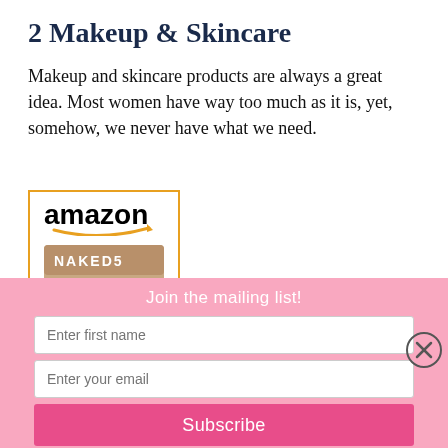2 Makeup & Skincare
Makeup and skincare products are always a great idea. Most women have way too much as it is, yet, somehow, we never have what we need.
[Figure (photo): Amazon product card showing the Naked5 eyeshadow makeup palette with multiple shades]
Join the mailing list!
Enter first name
Enter your email
Subscribe